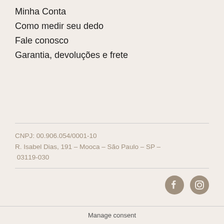Minha Conta
Como medir seu dedo
Fale conosco
Garantia, devoluções e frete
CNPJ: 00.906.054/0001-10
R. Isabel Dias, 191 – Mooca – São Paulo – SP – 03119-030
[Figure (logo): Facebook and Instagram social media icons]
Manage consent